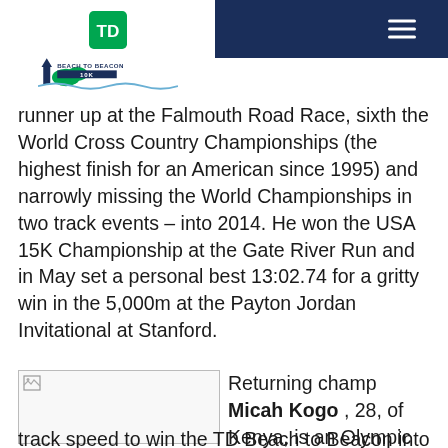TD Beach to Beacon 10K — navigation header with logo
[Figure (logo): TD Bank logo and Beach to Beacon 10K race logo in white header area]
runner up at the Falmouth Road Race, sixth the World Cross Country Championships (the highest finish for an American since 1995) and narrowly missing the World Championships in two track events – into 2014. He won the USA 15K Championship at the Gate River Run and in May set a personal best 13:02.74 for a gritty win in the 5,000m at the Payton Jordan Invitational at Stanford.
[Figure (photo): Image placeholder (broken image icon) for a race-related photo]
Returning champ Micah Kogo , 28, of Kenya, is an Olympic bronze medalist at 10,000m who utilized his
track speed to win the TD Beach to Beacon into f